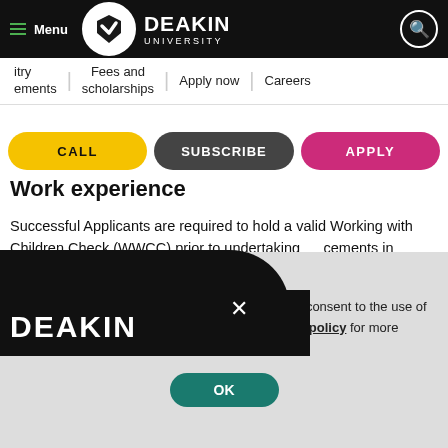[Figure (logo): Deakin University logo with shield emblem and text DEAKIN UNIVERSITY on black header bar with Menu hamburger icon and search icon]
itry | Fees and scholarships | Apply now | Careers
ements
[Figure (other): Three CTA buttons: CALL (yellow), SUBSCRIBE (dark gray), APPLY (pink/magenta)]
Work experience
Successful Applicants are required to hold a valid Working with Children Check (WWCC) prior to undertaking cements in education settings, e information see:
[Figure (other): Popup overlay with black rounded shape, DEAKIN text in white, and X close button]
We use cookies to improve your experience. You consent to the use of our cookies if you proceed. Visit our Privacy policy for more information.
[Figure (other): OK button in teal/dark green rounded rectangle]